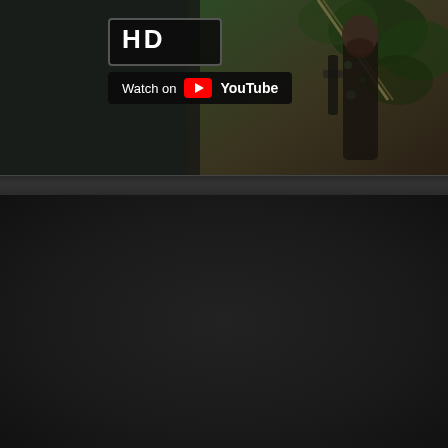[Figure (screenshot): A YouTube video thumbnail screenshot showing a partial HD badge in upper portion and a 'Watch on YouTube' button overlay on the left side. The right portion shows a scene with foliage and a figure. Below is a dark divider bar and a large dark/black background area filling the lower portion of the page.]